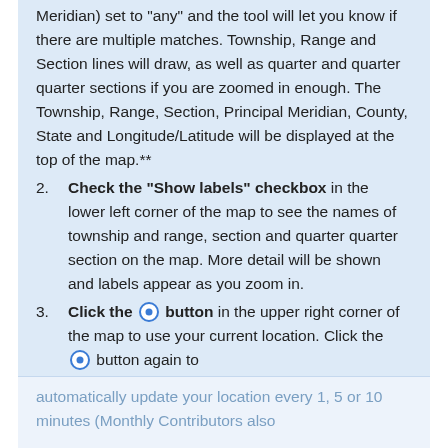Meridian) set to "any" and the tool will let you know if there are multiple matches. Township, Range and Section lines will draw, as well as quarter and quarter quarter sections if you are zoomed in enough. The Township, Range, Section, Principal Meridian, County, State and Longitude/Latitude will be displayed at the top of the map.**
2. Check the "Show labels" checkbox in the lower left corner of the map to see the names of township and range, section and quarter quarter section on the map. More detail will be shown and labels appear as you zoom in.
3. Click the [radio button] button in the upper right corner of the map to use your current location. Click the [radio button] button again to automatically update your location every 1, 5 or 10 minutes (Monthly Contributors also